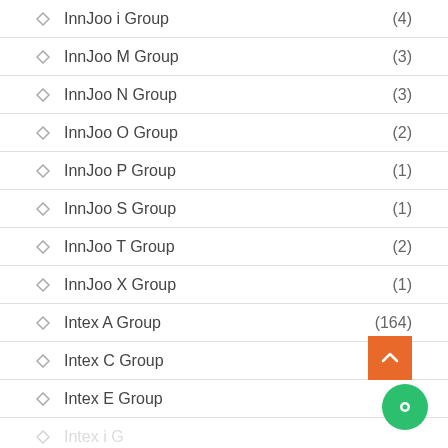InnJoo i Group (4)
InnJoo M Group (3)
InnJoo N Group (3)
InnJoo O Group (2)
InnJoo P Group (1)
InnJoo S Group (1)
InnJoo T Group (2)
InnJoo X Group (1)
Intex A Group (164)
Intex C Group
Intex E Group (3)
Intex i Group